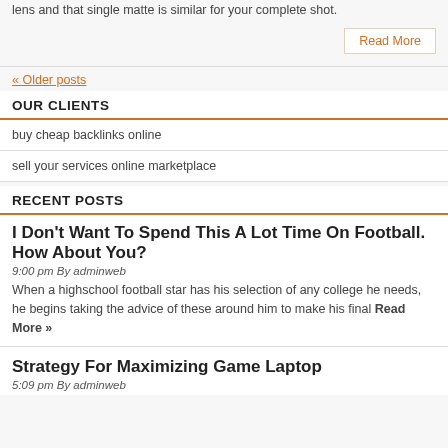lens and that single matte is similar for your complete shot.
Read More
« Older posts
OUR CLIENTS
buy cheap backlinks online
sell your services online marketplace
RECENT POSTS
I Don't Want To Spend This A Lot Time On Football. How About You?
9:00 pm By adminweb
When a highschool football star has his selection of any college he needs, he begins taking the advice of these around him to make his final Read More »
Strategy For Maximizing Game Laptop
5:09 pm By adminweb